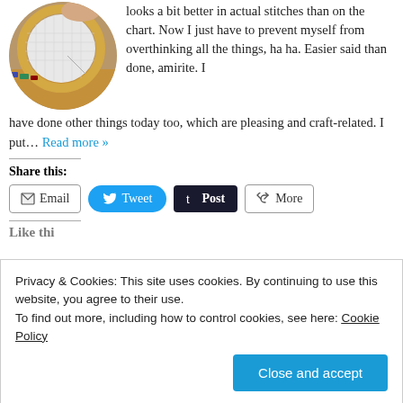[Figure (photo): Circular cropped photo of embroidery hoop with white aida cloth and a wooden desk with colorful items in background]
looks a bit better in actual stitches than on the chart. Now I just have to prevent myself from overthinking all the things, ha ha. Easier said than done, amirite. I have done other things today too, which are pleasing and craft-related. I put... Read more »
Share this:
Email
Tweet
Post
More
Privacy & Cookies: This site uses cookies. By continuing to use this website, you agree to their use.
To find out more, including how to control cookies, see here: Cookie Policy